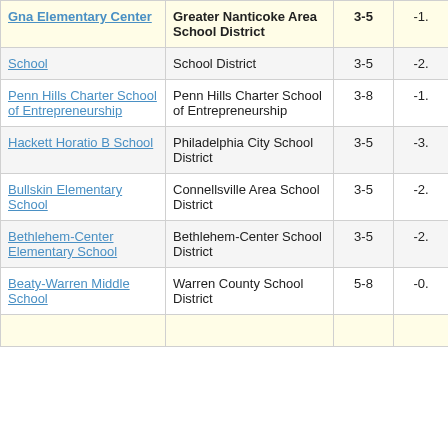| School | District | Grades | Value |
| --- | --- | --- | --- |
| Gna Elementary Center | Greater Nanticoke Area School District | 3-5 | -1. |
| School | School District | 3-5 | -2. |
| Penn Hills Charter School of Entrepreneurship | Penn Hills Charter School of Entrepreneurship | 3-8 | -1. |
| Hackett Horatio B School | Philadelphia City School District | 3-5 | -3. |
| Bullskin Elementary School | Connellsville Area School District | 3-5 | -2. |
| Bethlehem-Center Elementary School | Bethlehem-Center School District | 3-5 | -2. |
| Beaty-Warren Middle School | Warren County School District | 5-8 | -0. |